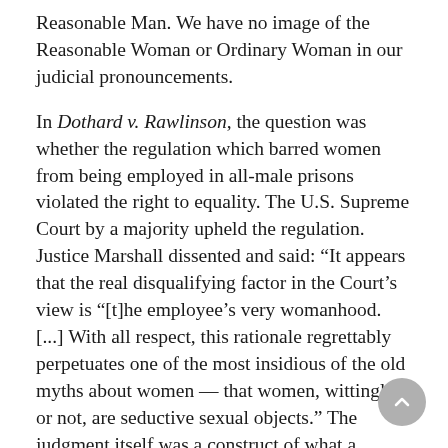Reasonable Man. We have no image of the Reasonable Woman or Ordinary Woman in our judicial pronouncements.
In Dothard v. Rawlinson, the question was whether the regulation which barred women from being employed in all-male prisons violated the right to equality. The U.S. Supreme Court by a majority upheld the regulation. Justice Marshall dissented and said: “It appears that the real disqualifying factor in the Court’s view is “[t]he employee’s very womanhood. [...] With all respect, this rationale regrettably perpetuates one of the most insidious of the old myths about women — that women, wittingly or not, are seductive sexual objects.” The judgment itself was a construct of what a woman is, physically less capable of protecting herself, inherently a